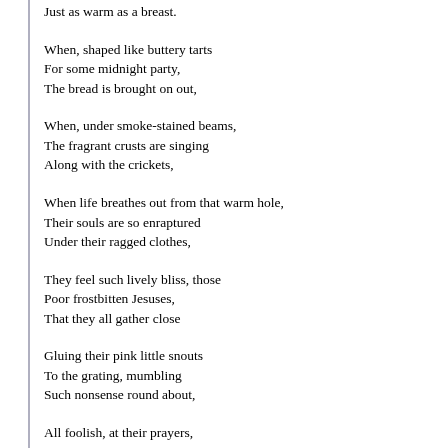Just as warm as a breast.
When, shaped like buttery tarts
For some midnight party,
The bread is brought on out,
When, under smoke-stained beams,
The fragrant crusts are singing
Along with the crickets,
When life breathes out from that warm hole,
Their souls are so enraptured
Under their ragged clothes,
They feel such lively bliss, those
Poor frostbitten Jesuses,
That they all gather close
Gluing their pink little snouts
To the grating, mumbling
Such nonsense round about,
All foolish, at their prayers,
Hunkering toward that light
From heaven bright and fair,
So hard they split their pants,
And their shirt-tails flutter
In the winds of winter,